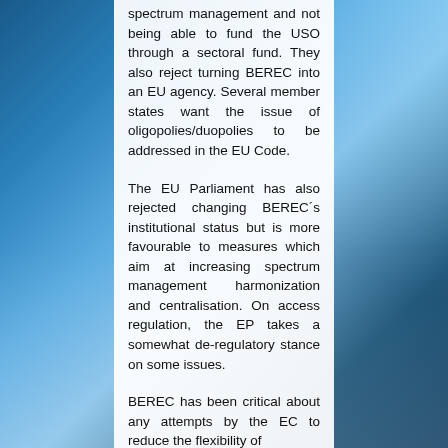spectrum management and not being able to fund the USO through a sectoral fund. They also reject turning BEREC into an EU agency. Several member states want the issue of oligopolies/duopolies to be addressed in the EU Code.
The EU Parliament has also rejected changing BEREC´s institutional status but is more favourable to measures which aim at increasing spectrum management harmonization and centralisation. On access regulation, the EP takes a somewhat de-regulatory stance on some issues.
BEREC has been critical about any attempts by the EC to reduce the flexibility of